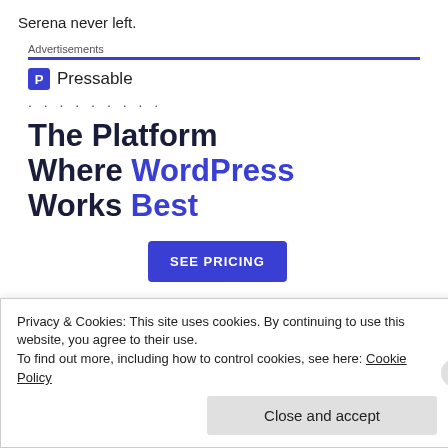Serena never left.
Advertisements
[Figure (logo): Pressable logo with blue square icon containing letter P and the text Pressable]
. . . . . . . . .
The Platform Where WordPress Works Best
SEE PRICING
Privacy & Cookies: This site uses cookies. By continuing to use this website, you agree to their use.
To find out more, including how to control cookies, see here: Cookie Policy
Close and accept